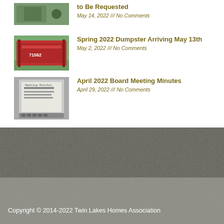to Be Requested
May 14, 2022 /// No Comments
[Figure (photo): Red dumpster container labeled 71562 outdoors]
Spring 2022 Dumpster Arriving May 13th
May 2, 2022 /// No Comments
[Figure (photo): Typewriter with Meeting Minutes paper]
April 2022 Board Meeting Minutes
April 29, 2022 /// No Comments
Read More
Copyright © 2014-2022 Twin Lakes Homes Association